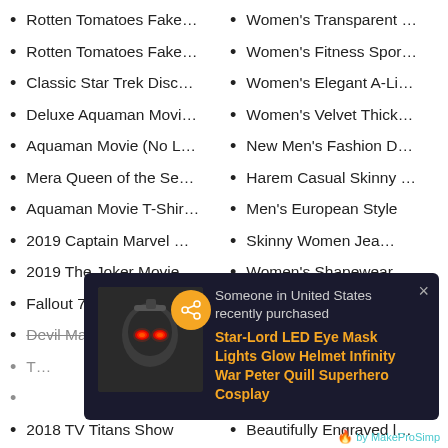Rotten Tomatoes Fake…
Women's Transparent …
Rotten Tomatoes Fake…
Women's Fitness Spor…
Classic Star Trek Disc…
Women's Elegant A-Li…
Deluxe Aquaman Movi…
Women's Velvet Thick…
Aquaman Movie (No L…
New Men's Fashion D…
Mera Queen of the Se…
Harem Casual Skinny …
Aquaman Movie T-Shir…
Men's European Style
2019 Captain Marvel …
Skinny Women Jea…
2019 The Joker Movie …
Women's Shapewear …
Fallout 76 Wearable T-…
Women's Gothic Over…
Devil May Cry 5 Nero
Womens Long Sleeve …
2018 TV Titans Show
Beautifully Engraved l…
[Figure (screenshot): Popup notification showing purchase: 'Someone in United States recently purchased Star-Lord LED Eye Mask Lights Glow Helmet Infinity War Peter Quill Superhero Cosplay'. Shows product image of helmet with glowing red eyes on dark background. Has a close X button. Cart icon with badge showing 0 in teal circle at top right.]